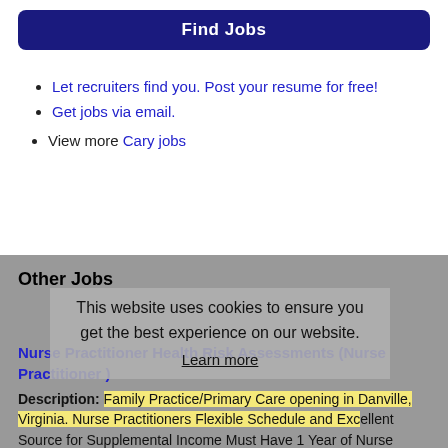Find Jobs
Let recruiters find you. Post your resume for free!
Get jobs via email.
View more Cary jobs
Other Jobs
This website uses cookies to ensure you get the best experience on our website. Learn more
Nurse Practitioner Health Risk Assessments (Nurse Practitioner )
Description: Family Practice/Primary Care opening in Danville, Virginia. Nurse Practitioners Flexible Schedule and Excellent Source for Supplemental Income Must Have 1 Year of Nurse Practitioner ExperiencePerform (more...)
Company: Northeast Healthcare Recruitment, Inc.